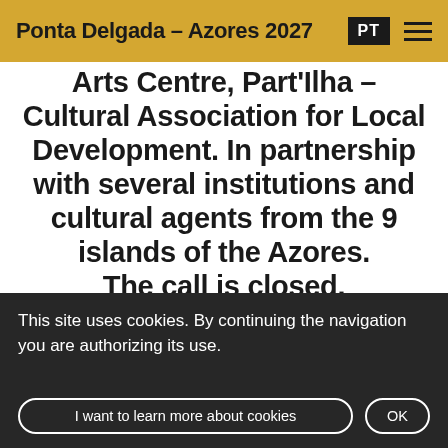Ponta Delgada – Azores 2027
Arts Centre, Part'Ilha – Cultural Association for Local Development. In partnership with several institutions and cultural agents from the 9 islands of the Azores. The call is closed.
This site uses cookies. By continuing the navigation you are authorizing its use.
I want to learn more about cookies | OK